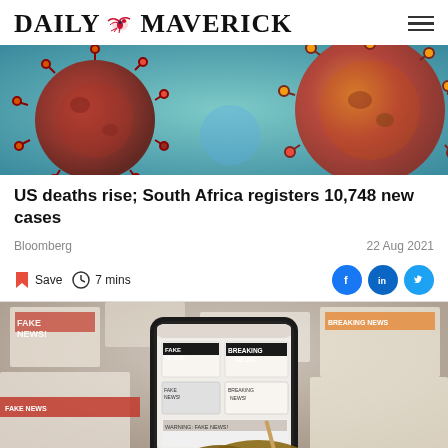DAILY MAVERICK
[Figure (photo): Close-up 3D render of coronavirus particles in red and orange against a teal/blue background]
US deaths rise; South Africa registers 10,748 new cases
Bloomberg   22 Aug 2021
Save  7 mins
[Figure (photo): A hand holding a smartphone displaying multiple 'FAKE NEWS' and 'BREAKING NEWS' headlines, with printed fake news papers blurred in the background]